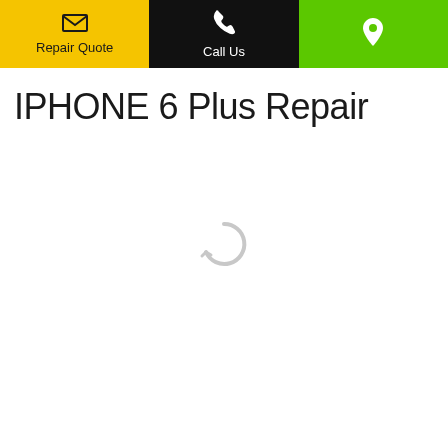Repair Quote | Call Us | (location)
IPHONE 6 Plus Repair
[Figure (illustration): Loading spinner icon (circular arrow, gray) indicating content is loading]